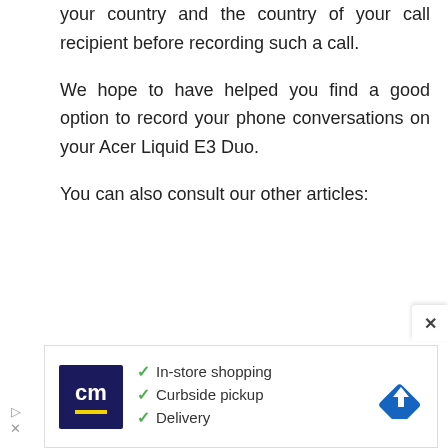your country and the country of your call recipient before recording such a call.
We hope to have helped you find a good option to record your phone conversations on your Acer Liquid E3 Duo.
You can also consult our other articles:
[Figure (infographic): Advertisement banner with CM logo (dark blue background, yellow underline), checklist of three items: 'In-store shopping', 'Curbside pickup', 'Delivery' with green checkmarks, and a blue diamond-shaped navigation icon on the right. A close button (×) appears above the banner on the top right.]